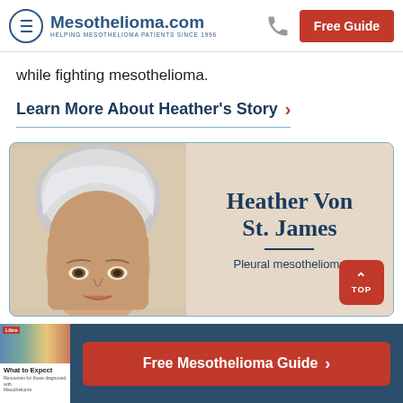Mesothelioma.com — HELPING MESOTHELIOMA PATIENTS SINCE 1996 | Free Guide
while fighting mesothelioma.
Learn More About Heather's Story ›
[Figure (photo): Photo of Heather Von St. James, a mesothelioma patient, with silver/white short hair. Text overlay reads 'Heather Von St. James' and 'Pleural mesothelioma']
Free Mesothelioma Guide ›